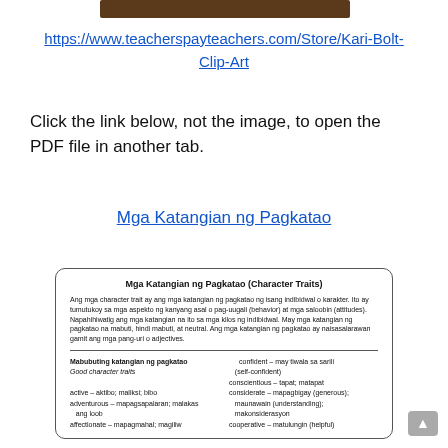[Figure (other): Dark brown banner/header bar at top of page]
https://www.teacherspayteachers.com/Store/Kari-Bolt-Clip-Art
Click the link below, not the image, to open the PDF file in another tab.
Mga Katangian ng Pagkatao
[Figure (infographic): Card titled 'Mga Katangian ng Pagkatao (Character Traits)' with definition text, a divider, and two columns listing character traits in Filipino and English.]